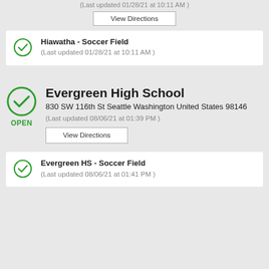(Last updated 01/28/21 at 10:11 AM)
View Directions
Hiawatha - Soccer Field (Last updated 01/28/21 at 10:11 AM)
Evergreen High School
830 SW 116th St Seattle Washington United States 98146
(Last updated 08/06/21 at 01:39 PM)
View Directions
Evergreen HS - Soccer Field (Last updated 08/06/21 at 01:41 PM)